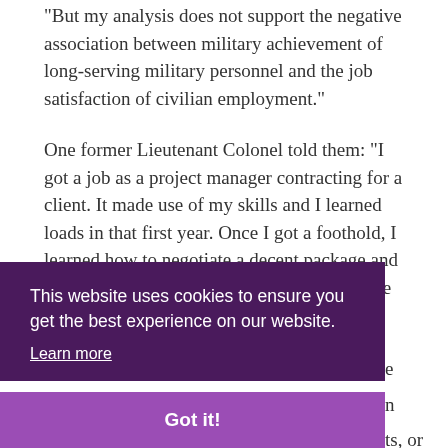“But my analysis does not support the negative association between military achievement of long-serving military personnel and the job satisfaction of civilian employment.”
One former Lieutenant Colonel told them: “I got a job as a project manager contracting for a client. It made use of my skills and I learned loads in that first year. Once I got a foothold, I learned how to negotiate a decent package and then secured a permanent role with one of the client’s key suppliers.”
This website uses cookies to ensure you get the best experience on our website.
Learn more
Got it!